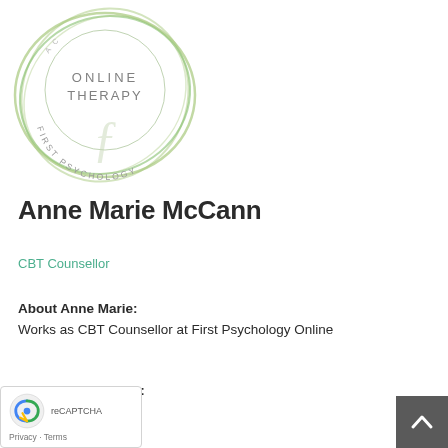[Figure (logo): First Psychology Online Therapy circular logo with green swirl border, showing 'ONLINE THERAPY' in center and 'FIRST PSYCHOLOGY' around the ring]
Anne Marie McCann
CBT Counsellor
About Anne Marie: Works as CBT Counsellor at First Psychology Online
Languages spoken: English